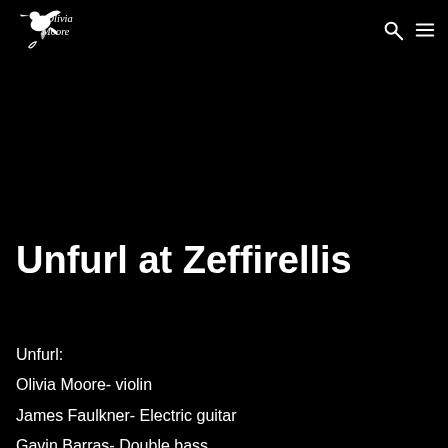Olivia Moore [logo with bird/hummingbird illustration]
Unfurl at Zeffirellis
Unfurl:
Olivia Moore- violin
James Faulkner- Electric guitar
Gavin Barras- Double bass